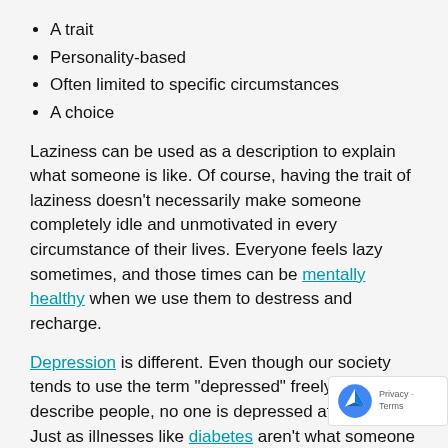A trait
Personality-based
Often limited to specific circumstances
A choice
Laziness can be used as a description to explain what someone is like. Of course, having the trait of laziness doesn't necessarily make someone completely idle and unmotivated in every circumstance of their lives. Everyone feels lazy sometimes, and those times can be mentally healthy when we use them to destress and recharge.
Depression is different. Even though our society tends to use the term “depressed” freely to describe people, no one is depressed at their core. Just as illnesses like diabetes aren’t what someone is like, nor is depres… Contrast the above description of laziness with thi… depiction of depression.